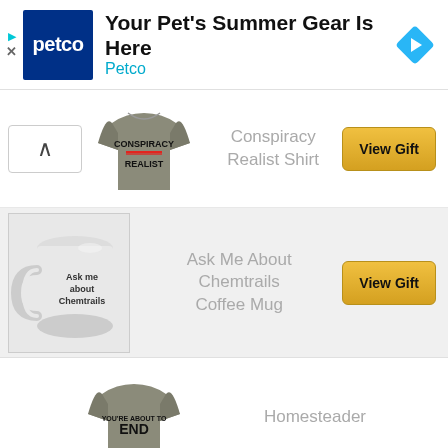[Figure (screenshot): Petco advertisement banner with logo, headline 'Your Pet's Summer Gear Is Here', brand name 'Petco', and navigation arrow icon]
[Figure (photo): Gray t-shirt with text 'CONSPIRACY REALIST' printed on it]
Conspiracy Realist Shirt
View Gift
[Figure (photo): White coffee mug with text 'Ask me about Chemtrails' on it]
Ask Me About Chemtrails Coffee Mug
View Gift
[Figure (photo): Gray t-shirt partially visible at bottom]
Homesteader